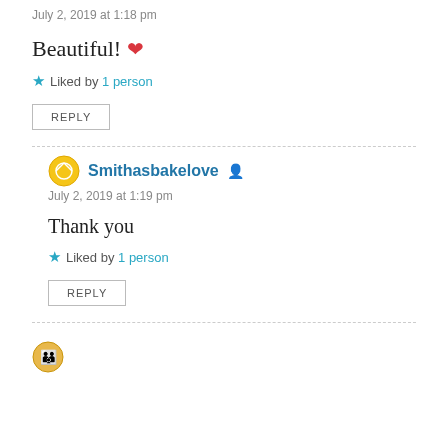July 2, 2019 at 1:18 pm
Beautiful! ❤
★ Liked by 1 person
REPLY
Smithasbakelove
July 2, 2019 at 1:19 pm
Thank you
★ Liked by 1 person
REPLY